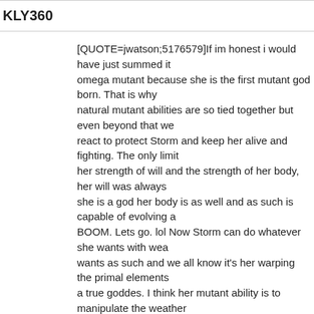KLY360
[QUOTE=jwatson;5176579]If im honest i would have just summed it omega mutant because she is the first mutant god born. That is why natural mutant abilities are so tied together but even beyond that we react to protect Storm and keep her alive and fighting. The only limit her strength of will and the strength of her body, her will was always she is a god her body is as well and as such is capable of evolving a BOOM. Lets go. lol Now Storm can do whatever she wants with wea wants as such and we all know it's her warping the primal elements a true goddes. I think her mutant ability is to manipulate the weather control the very elements that make up the fabric of reality and has mutant ability. All they have to do is a god walk and have the girl bra [/QUOTE]
I think her magic potential is supposed to at least do spells like her a
butterflykyss
[QUOTE=jwatson;5180093]I Identify as male. I know we all getting a times and even I be editing cause I have a hard time keeping it toge some of us just dudes. Lol[/QUOTE]